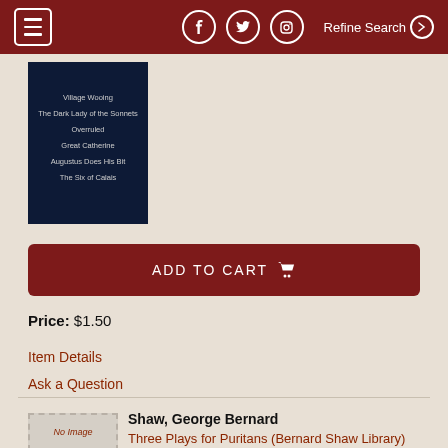Refine Search
[Figure (illustration): Dark navy book cover with white text listing play titles: Village Wooing, The Dark Lady of the Sonnets, Overruled, Great Catherine, Augustus Does His Bit, The Six of Calais]
ADD TO CART
Price: $1.50
Item Details
Ask a Question
[Figure (illustration): No Image placeholder - grey rectangle with dotted border and 'No Image' text in red italic]
Shaw, George Bernard
Three Plays for Puritans (Bernard Shaw Library)
Penguin Classics, 2000. Trade Paperback. More>